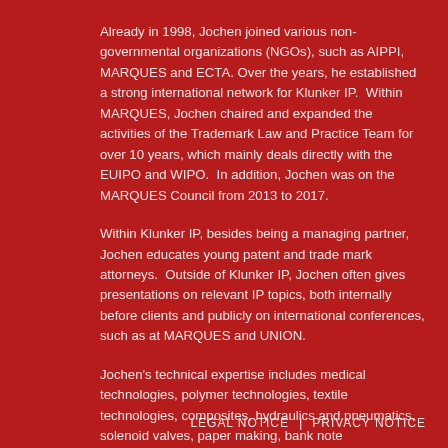Already in 1998, Jochen joined various non-governmental organizations (NGOs), such as AIPPI, MARQUES and ECTA. Over the years, he established a strong international network for Klunker IP. Within MARQUES, Jochen chaired and expanded the activities of the Trademark Law and Practice Team for over 10 years, which mainly deals directly with the EUIPO and WIPO. In addition, Jochen was on the MARQUES Council from 2013 to 2017.
Within Klunker IP, besides being a managing partner, Jochen educates young patent and trade mark attorneys. Outside of Klunker IP, Jochen often gives presentations on relevant IP topics, both internally before clients and publicly on international conferences, such as at MARQUES and UNION.
Jochen's technical expertise includes medical technologies, polymer technologies, textile technologies, composites, hydraulics and pneumatics, solenoid valves, paper making, bank note manufacturing, smart card technology, and security elements.
LEGAL NOTICE | PRIVACY NOTICE